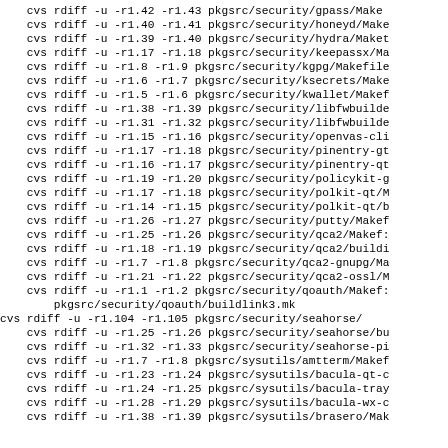cvs rdiff -u -r1.42 -r1.43 pkgsrc/security/gpass/Make...
cvs rdiff -u -r1.40 -r1.41 pkgsrc/security/honeyd/Make...
cvs rdiff -u -r1.39 -r1.40 pkgsrc/security/hydra/Make...
cvs rdiff -u -r1.17 -r1.18 pkgsrc/security/keepassx/Ma...
cvs rdiff -u -r1.8 -r1.9 pkgsrc/security/kgpg/Makefile...
cvs rdiff -u -r1.6 -r1.7 pkgsrc/security/ksecrets/Make...
cvs rdiff -u -r1.5 -r1.6 pkgsrc/security/kwallet/Makef...
cvs rdiff -u -r1.38 -r1.39 pkgsrc/security/libfwbuilde...
cvs rdiff -u -r1.31 -r1.32 pkgsrc/security/libfwbuilde...
cvs rdiff -u -r1.15 -r1.16 pkgsrc/security/openvas-cli...
cvs rdiff -u -r1.17 -r1.18 pkgsrc/security/pinentry-gt...
cvs rdiff -u -r1.16 -r1.17 pkgsrc/security/pinentry-qt...
cvs rdiff -u -r1.19 -r1.20 pkgsrc/security/policykit-g...
cvs rdiff -u -r1.17 -r1.18 pkgsrc/security/polkit-qt/M...
cvs rdiff -u -r1.14 -r1.15 pkgsrc/security/polkit-qt/b...
cvs rdiff -u -r1.26 -r1.27 pkgsrc/security/putty/Makef...
cvs rdiff -u -r1.25 -r1.26 pkgsrc/security/qca2/Makef...
cvs rdiff -u -r1.18 -r1.19 pkgsrc/security/qca2/buildi...
cvs rdiff -u -r1.7 -r1.8 pkgsrc/security/qca2-gnupg/Ma...
cvs rdiff -u -r1.21 -r1.22 pkgsrc/security/qca2-ossl/M...
cvs rdiff -u -r1.1 -r1.2 pkgsrc/security/qoauth/Makef...
    pkgsrc/security/qoauth/buildlink3.mk
cvs rdiff -u -r1.104 -r1.105 pkgsrc/security/seahorse/...
cvs rdiff -u -r1.25 -r1.26 pkgsrc/security/seahorse/bu...
cvs rdiff -u -r1.32 -r1.33 pkgsrc/security/seahorse-p...
cvs rdiff -u -r1.7 -r1.8 pkgsrc/sysutils/amtterm/Makef...
cvs rdiff -u -r1.23 -r1.24 pkgsrc/sysutils/bacula-qt-c...
cvs rdiff -u -r1.24 -r1.25 pkgsrc/sysutils/bacula-tray...
cvs rdiff -u -r1.28 -r1.29 pkgsrc/sysutils/bacula-wx-c...
cvs rdiff -u -r1.38 -r1.39 pkgsrc/sysutils/brasero/Mak...